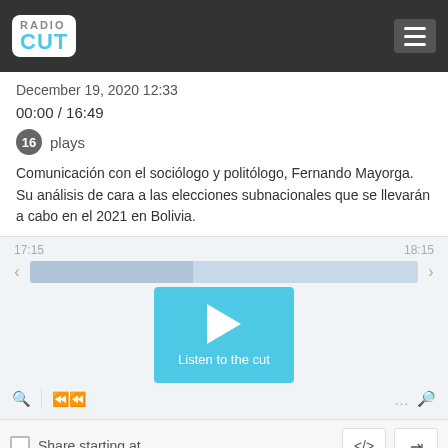RADIO CUT
December 19, 2020 12:33
00:00 / 16:49
16 plays
Comunicación con el sociólogo y politólogo, Fernando Mayorga. Su análisis de cara a las elecciones subnacionales que se llevarán a cabo en el 2021 en Bolivia.
[Figure (screenshot): Audio player with waveform, play button labeled 'Listen to the cut', timeline showing 17:15 and 18:15, navigation arrows, zoom controls, rewind and options buttons]
Share starting at...
Tags: 2021  bolivia  elecciones  elecciones en bolivia  fernando mayorga  mas  radio madres  somos radio am 530  subnacionales